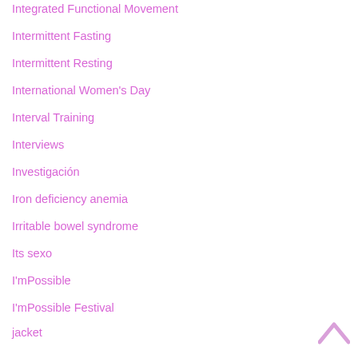Integrated Functional Movement
Intermittent Fasting
Intermittent Resting
International Women's Day
Interval Training
Interviews
Investigación
Iron deficiency anemia
Irritable bowel syndrome
Its sexo
I'mPossible
I'mPossible Festival
jacket
jackets
Jaime Baird's Your Best
[Figure (other): Back to top chevron arrow icon in light pink/mauve color]